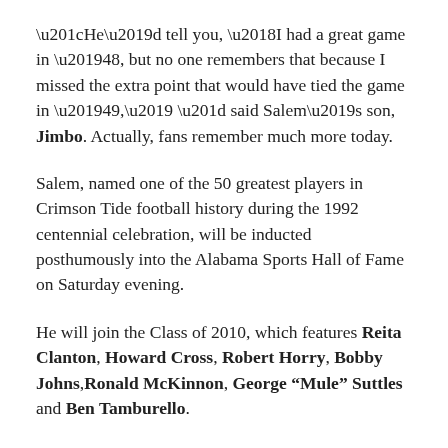“He’d tell you, ‘I had a great game in ’48, but no one remembers that because I missed the extra point that would have tied the game in ’49,’ ” said Salem’s son, Jimbo. Actually, fans remember much more today.
Salem, named one of the 50 greatest players in Crimson Tide football history during the 1992 centennial celebration, will be inducted posthumously into the Alabama Sports Hall of Fame on Saturday evening.
He will join the Class of 2010, which features Reita Clanton, Howard Cross, Robert Horry, Bobby Johns, Ronald McKinnon, George “Mule” Suttles and Ben Tamburello.
To some of the people who watched Salem, the honor is long overdue.